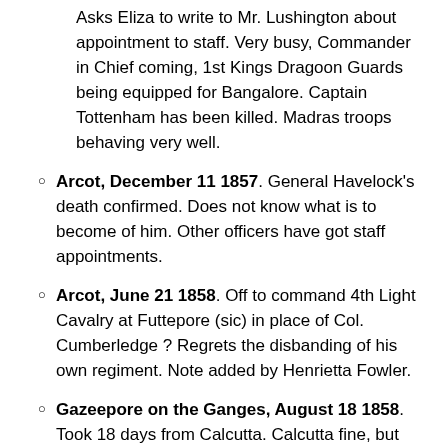Asks Eliza to write to Mr. Lushington about appointment to staff. Very busy, Commander in Chief coming, 1st Kings Dragoon Guards being equipped for Bangalore. Captain Tottenham has been killed. Madras troops behaving very well.
Arcot, December 11 1857. General Havelock's death confirmed. Does not know what is to become of him. Other officers have got staff appointments.
Arcot, June 21 1858. Off to command 4th Light Cavalry at Futtepore (sic) in place of Col. Cumberledge ? Regrets the disbanding of his own regiment. Note added by Henrietta Fowler.
Gazeepore on the Ganges, August 18 1858. Took 18 days from Calcutta. Calcutta fine, but very hot and smelly. At Gazeepore